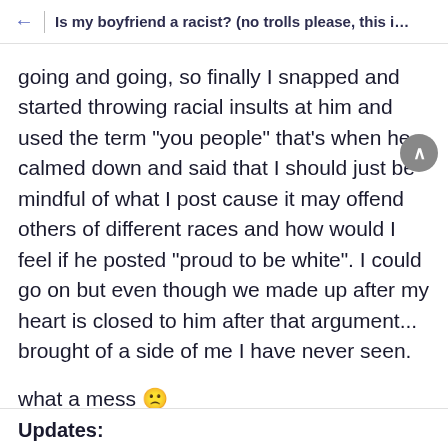Is my boyfriend a racist? (no trolls please, this is a hon...
going and going, so finally I snapped and started throwing racial insults at him and used the term "you people" that's when he calmed down and said that I should just be mindful of what I post cause it may offend others of different races and how would I feel if he posted "proud to be white". I could go on but even though we made up after my heart is closed to him after that argument... brought of a side of me I have never seen.
what a mess 😦
Updates: